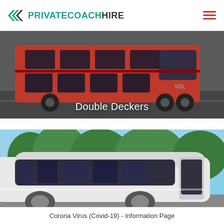PRIVATECOACH HIRE
[Figure (photo): A red VDL double-decker coach bus driving on a road, seen from the side/front angle, with a dark background]
Double Deckers
[Figure (photo): A white modern luxury coach bus parked outdoors with trees and blue sky in the background]
Corona Virus (Covid-19) - Information Page